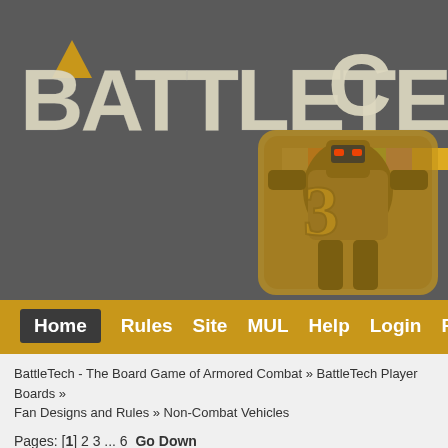[Figure (screenshot): BattleTech forum website header with logo, colored bar, and mech robot image on dark gray background]
Home  Rules  Site  MUL  Help  Login  Register
BattleTech - The Board Game of Armored Combat » BattleTech Player Boards » Fan Designs and Rules » Non-Combat Vehicles
Pages: [1] 2 3 ... 6  Go Down
|  | Subject / Started by | Replies / Views | Last post |
| --- | --- | --- | --- |
|  | A challenge for the Mathematics Obsessives | 7 Replies | 31 July 2022 |